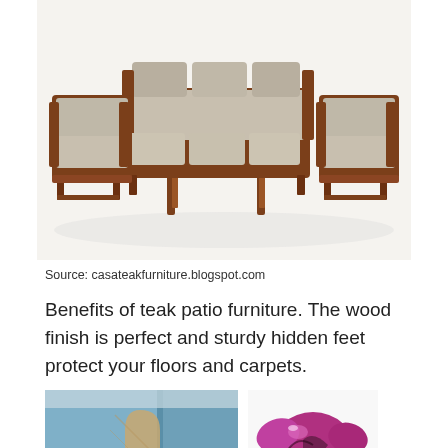[Figure (photo): Modern teak wood living room furniture set including a three-seat sofa, two armchairs, and a rectangular coffee table with dark inlay, all with beige cushions and wooden frame.]
Source: casateakfurniture.blogspot.com
Benefits of teak patio furniture. The wood finish is perfect and sturdy hidden feet protect your floors and carpets.
[Figure (photo): Close-up of a piece of furniture with blue painted wood surface and exposed natural wood corner detail with decorative bracket.]
[Figure (photo): Purple/pink sculptural glass object with organic flowing shape against a white background.]